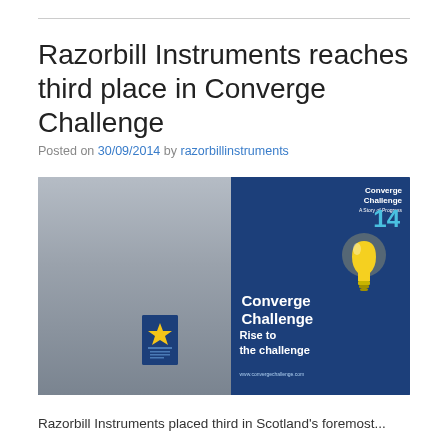Razorbill Instruments reaches third place in Converge Challenge
Posted on 30/09/2014 by razorbillinstruments
[Figure (photo): A man in a suit holding an award certificate stands in front of a Converge Challenge 14 banner. The banner is dark blue with a yellow lightbulb graphic and the text 'Converge Challenge – Rise to the challenge'.]
Razorbill Instruments placed third in Scotland's foremost...